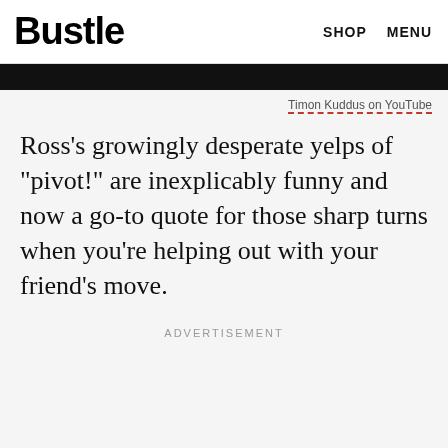Bustle  SHOP  MENU
Timon Kuddus on YouTube
Ross's growingly desperate yelps of "pivot!" are inexplicably funny and now a go-to quote for those sharp turns when you're helping out with your friend's move.
ADVERTISEMENT